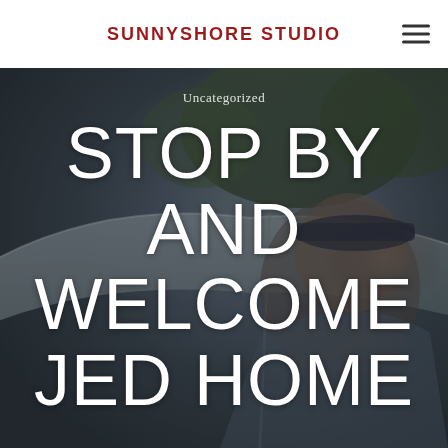SUNNYSHORE STUDIO
[Figure (photo): Outdoor photo of a man smiling under a large tent canopy, with trees visible in the background. Dark/dim lighting with the photo serving as a hero background image.]
Uncategorized
STOP BY AND WELCOME JED HOME